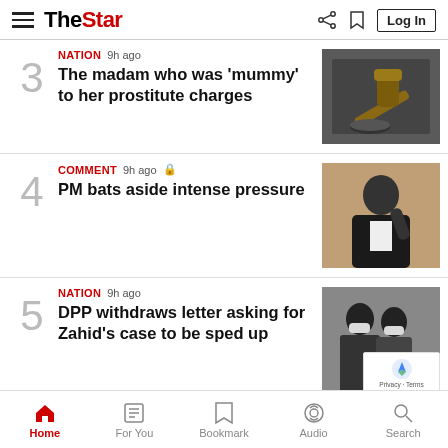TheStar — Log In
3 | NATION 9h ago | The madam who was 'mummy' to her prostitute charges
4 | COMMENT 9h ago | PM bats aside intense pressure
5 | NATION 9h ago | DPP withdraws letter asking for Zahid's case to be sped up
Home | For You | Bookmark | Audio | Search